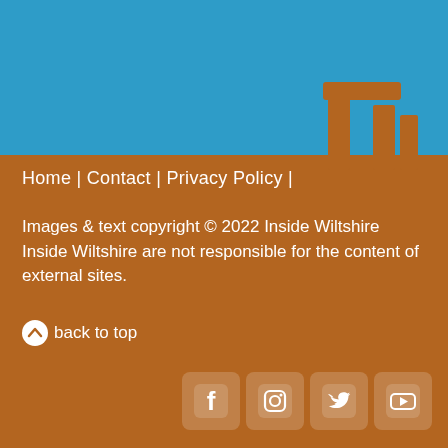[Figure (illustration): Stonehenge silhouette in orange/brown on blue sky background]
Home | Contact | Privacy Policy |
Images & text copyright © 2022 Inside Wiltshire Inside Wiltshire are not responsible for the content of external sites.
⬆ back to top
[Figure (illustration): Social media icons: Facebook, Instagram, Twitter, YouTube in white rounded squares]